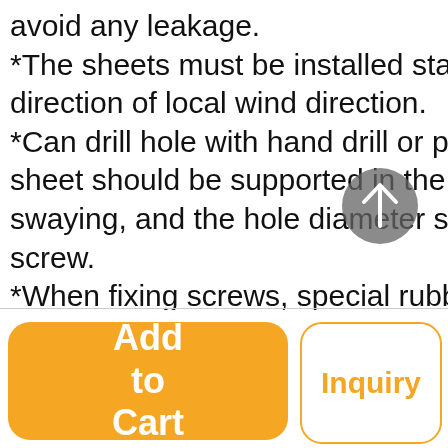avoid any leakage. *The sheets must be installed starting from the direction of local wind direction. *Can drill hole with hand drill or power drill, the sheet should be supported in the back to avoid swaying, and the hole diameter should match the screw. *When fixing screws, special rubber gaskets should be under the tile, and the screws should be tight but should not be too tight.
[Figure (other): Circular gray scroll-to-top button with an upward arrow icon]
Add to Cart
Inquiry